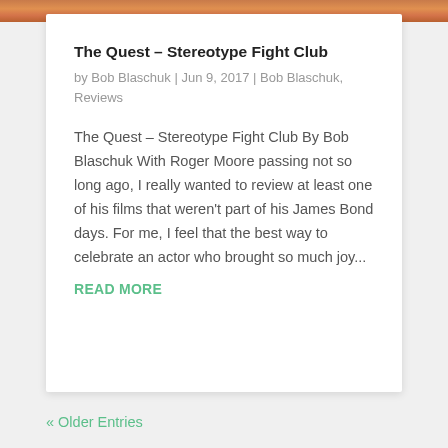[Figure (photo): Partial image strip at top of card showing warm orange/brown tones]
The Quest – Stereotype Fight Club
by Bob Blaschuk | Jun 9, 2017 | Bob Blaschuk, Reviews
The Quest – Stereotype Fight Club By Bob Blaschuk With Roger Moore passing not so long ago, I really wanted to review at least one of his films that weren't part of his James Bond days. For me, I feel that the best way to celebrate an actor who brought so much joy...
READ MORE
« Older Entries